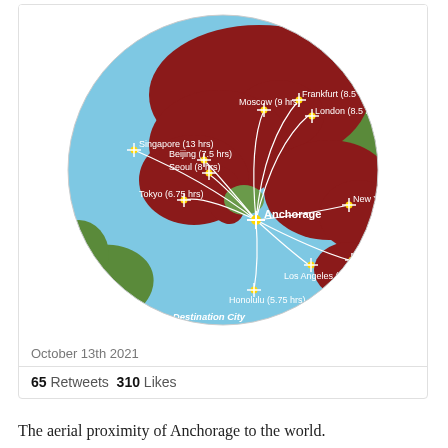[Figure (map): Globe map centered on the North Pacific showing Anchorage, Alaska as the central hub with flight routes (curved white lines) and airplane icons to 11 destination cities. Cities labeled with flight times from Anchorage: Singapore (13 hrs), Moscow (9 hrs), Frankfurt (8.5 hrs), London (8.5 hrs), Beijing (7.5 hrs), Seoul (8 hrs), Tokyo (6.75 hrs), New York (6.75 hrs), Mexico City (7 hrs), Los Angeles (5.5 hrs), Honolulu (5.75 hrs). Legend reads 'Destination City (flight time from Anchorage)'. Land masses in dark red/maroon, oceans in light blue, some regions in green.]
October 13th 2021
65 Retweets  310 Likes
The aerial proximity of Anchorage to the world.